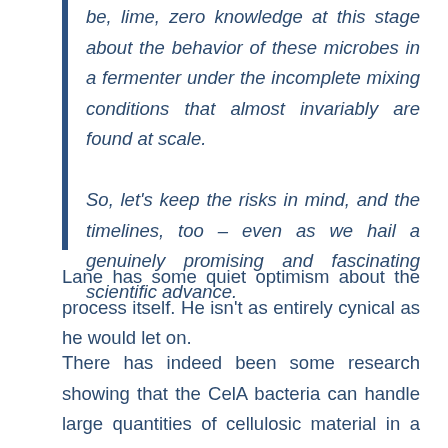be, lime, zero knowledge at this stage about the behavior of these microbes in a fermenter under the incomplete mixing conditions that almost invariably are found at scale.
So, let's keep the risks in mind, and the timelines, too – even as we hail a genuinely promising and fascinating scientific advance.
Lane has some quiet optimism about the process itself. He isn't as entirely cynical as he would let on.
There has indeed been some research showing that the CelA bacteria can handle large quantities of cellulosic material in a commercial setting. As